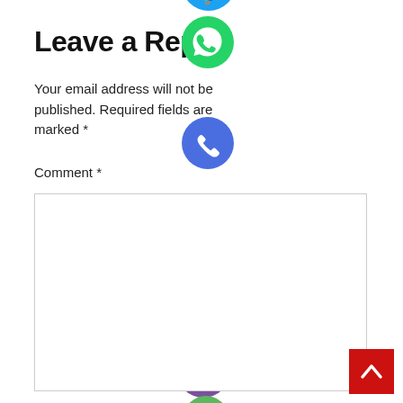Leave a Reply
Your email address will not be published. Required fields are marked *
Comment *
[Figure (infographic): Column of social media share buttons: partial blue circle at top, WhatsApp (green), Phone/Viber call (blue-purple), Email/Message (orange), LINE (green), Viber (purple), close/X (green). A red scroll-to-top button is at the bottom right.]